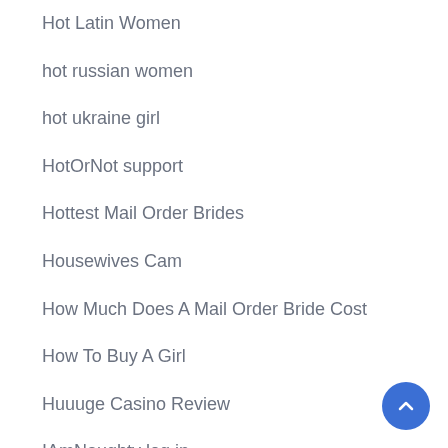Hot Latin Women
hot russian women
hot ukraine girl
HotOrNot support
Hottest Mail Order Brides
Housewives Cam
How Much Does A Mail Order Bride Cost
How To Buy A Girl
Huuuge Casino Review
IAmNaughty log in
Indian American Dating